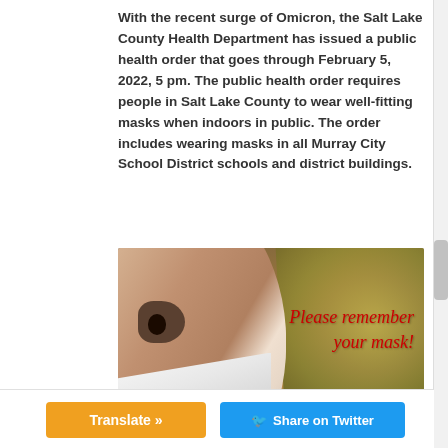With the recent surge of Omicron, the Salt Lake County Health Department has issued a public health order that goes through February 5, 2022, 5 pm. The public health order requires people in Salt Lake County to wear well-fitting masks when indoors in public. The order includes wearing masks in all Murray City School District schools and district buildings.
[Figure (photo): A child wearing a white face mask, shown from nose up, with text 'Please remember your mask!' in red handwriting overlaid on the right side of the image against a bokeh background.]
Translate »
Share on Twitter